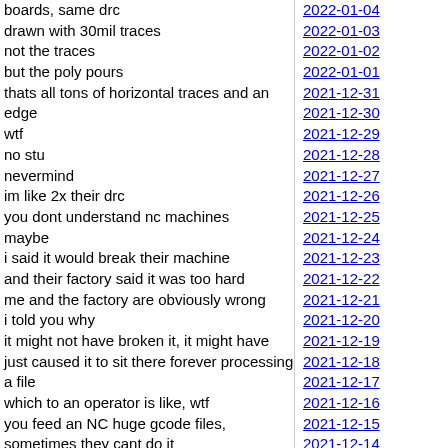boards, same drc
drawn with 30mil traces
not the traces
but the poly pours
thats all tons of horizontal traces and an edge
wtf
no stu
nevermind
im like 2x their drc
you dont understand nc machines
maybe
i said it would break their machine
and their factory said it was too hard
me and the factory are obviously wrong
i told you why
it might not have broken it, it might have just caused it to sit there forever processing a file
which to an operator is like, wtf
you feed an NC huge gcode files, sometimes they cant do it
theyre not known for being cutting edge in the digital systems department
no stu
2022-01-04
2022-01-03
2022-01-02
2022-01-01
2021-12-31
2021-12-30
2021-12-29
2021-12-28
2021-12-27
2021-12-26
2021-12-25
2021-12-24
2021-12-23
2021-12-22
2021-12-21
2021-12-20
2021-12-19
2021-12-18
2021-12-17
2021-12-16
2021-12-15
2021-12-14
2021-12-13
2021-12-12
2021-12-11
2021-12-10
2021-12-09
2021-12-08
2021-12-07
2021-12-06